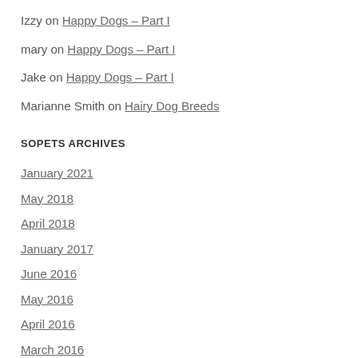Izzy on Happy Dogs – Part I
mary on Happy Dogs – Part I
Jake on Happy Dogs – Part I
Marianne Smith on Hairy Dog Breeds
SOPETS ARCHIVES
January 2021
May 2018
April 2018
January 2017
June 2016
May 2016
April 2016
March 2016
February 2016
January 2016
October 2015